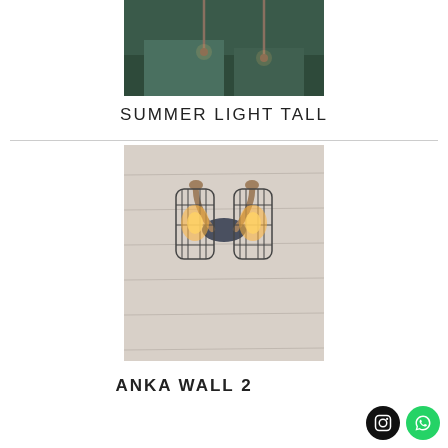[Figure (photo): Product photo of Summer Light Tall pendant lights against a dark green background, showing two tall bar-style pendant lights on a shelf]
SUMMER LIGHT TALL
[Figure (photo): Product photo of Anka Wall 2 double wall sconce with industrial cage shades and Edison bulbs mounted on a stone/concrete wall]
ANKA WALL 2